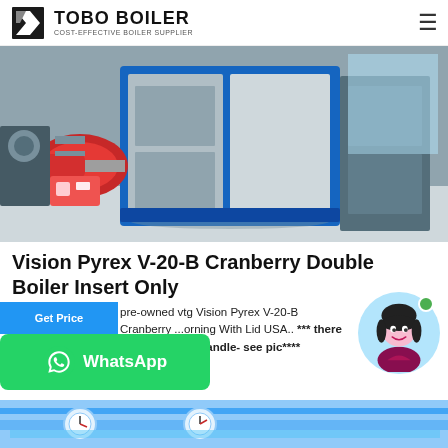TOBO BOILER — COST-EFFECTIVE BOILER SUPPLIER
[Figure (photo): Industrial gas boiler unit with red burner assembly, blue/silver casing, in a factory/warehouse setting]
Vision Pyrex V-20-B Cranberry Double Boiler Insert Only
pre-owned vtg Vision Pyrex V-20-B Cranberry ...orning With Lid USA.. *** there is a chip y the handle- see pic****
[Figure (photo): Partial view of industrial boiler pipes/gauges at bottom of page]